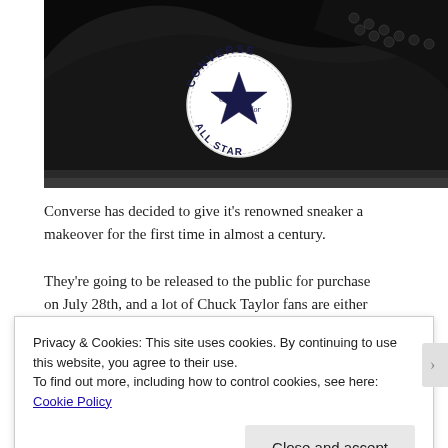[Figure (photo): Close-up photo of a black Converse Chuck Taylor All Star high-top sneaker showing the iconic circular logo patch on the ankle, with laces and dark canvas upper visible against a black background.]
Converse has decided to give it's renowned sneaker a makeover for the first time in almost a century. They're going to be released to the public for purchase on July 28th, and a lot of Chuck Taylor fans are either
Privacy & Cookies: This site uses cookies. By continuing to use this website, you agree to their use.
To find out more, including how to control cookies, see here: Cookie Policy
Close and accept